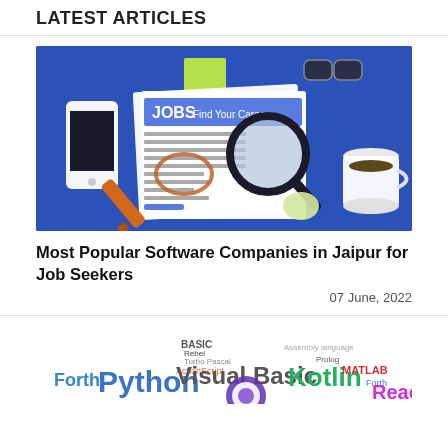LATEST Articles
[Figure (illustration): Illustration of a job search scene: blue background with a smartphone, sticky note, glasses, magnifying glass over a newspaper reading 'JOBS Find Your Career', an orange highlighter marker, and a coffee cup.]
Most Popular Software Companies in Jaipur for Job Seekers
07 June, 2022
[Figure (illustration): Word cloud / tag cloud of programming language names: Forth, Python, Visual Basic, BASIC, Kotlin, MATLAB, React, Assembly language, Prolog, and others in various colors and sizes.]